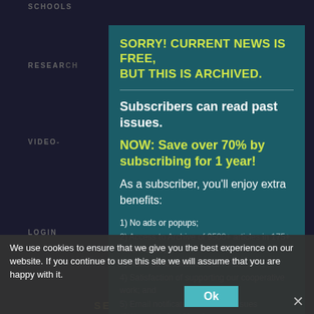SCHOOLS
RESEARCH
VIDEO-
LOGIN
SORRY! CURRENT NEWS IS FREE, BUT THIS IS ARCHIVED.
Subscribers can read past issues.
NOW: Save over 70% by subscribing for 1 year!
As a subscriber, you'll enjoy extra benefits:
1) No ads or popups;
2) Access to Archive of 9500+ articles in 175+ Past Issues;
3) Allow us to continue this PPE;
4) Satisfaction of supporting our cooperative work; and
5) Email notification of all new issues (2X/month). And More!
We use cookies to ensure that we give you the best experience on our website. If you continue to use this site we will assume that you are happy with it.
Ok
SEB...IES